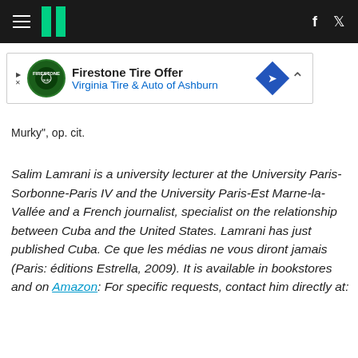HuffPost navigation header with hamburger menu, logo, Facebook and Twitter icons
[Figure (other): Firestone Tire Offer advertisement banner for Virginia Tire & Auto of Ashburn with logo and directional diamond icon]
Murky", op. cit.
Salim Lamrani is a university lecturer at the University Paris-Sorbonne-Paris IV and the University Paris-Est Marne-la-Vallée and a French journalist, specialist on the relationship between Cuba and the United States. Lamrani has just published Cuba. Ce que les médias ne vous diront jamais (Paris: éditions Estrella, 2009). It is available in bookstores and on Amazon: For specific requests, contact him directly at: